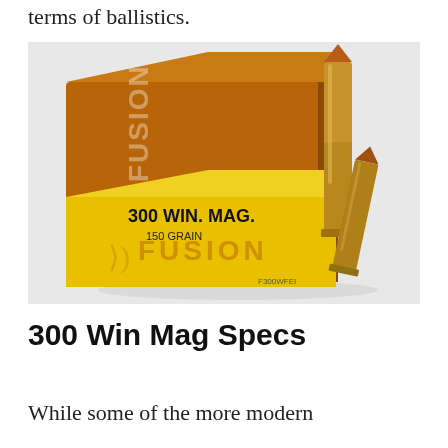terms of ballistics.
[Figure (photo): A box of Federal Fusion 300 Win. Mag. 150 Grain ammunition alongside two rifle cartridges standing upright and leaning, on a white background.]
300 Win Mag Specs
While some of the more modern